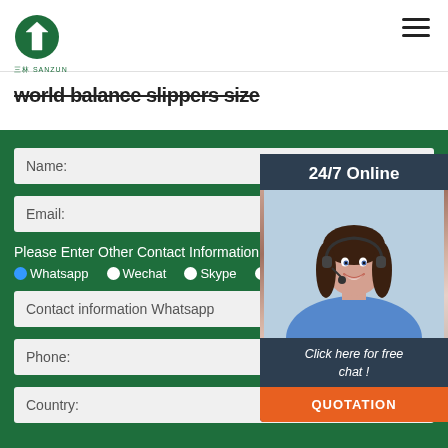三林 SANZUN logo and navigation
world balance slippers size
Name:
Email:
Please Enter Other Contact Information
Whatsapp  Wechat  Skype  Viber
Contact information Whatsapp
Phone:
Country:
[Figure (photo): 24/7 Online customer service representative with headset, smiling. Below: Click here for free chat! QUOTATION button.]